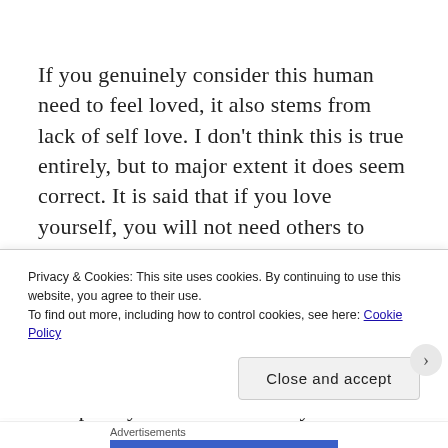If you genuinely consider this human need to feel loved, it also stems from lack of self love. I don't think this is true entirely, but to major extent it does seem correct. It is said that if you love yourself, you will not need others to show you love. While I agree that we can be happy if we love ourselves, I would still say we need other humans, their love and support. Self love is important as it is the only thing which will push you to know when you must step up and leave. It
Privacy & Cookies: This site uses cookies. By continuing to use this website, you agree to their use.
To find out more, including how to control cookies, see here: Cookie Policy
Close and accept
Advertisements